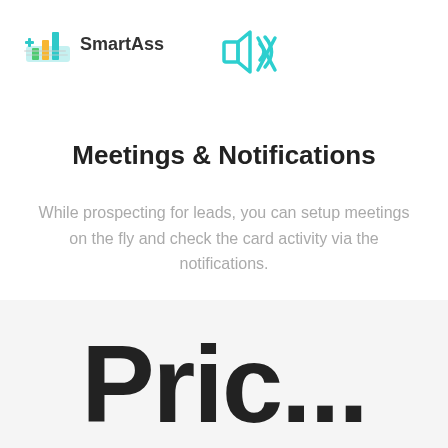[Figure (logo): SmartAss app logo with colorful bar chart icon and text 'SmartAss']
[Figure (illustration): Teal/cyan muted speaker / notification bell icon]
Meetings & Notifications
While prospecting for leads, you can setup meetings on the fly and check the card activity via the notifications.
[Figure (screenshot): Partial text beginning with large bold letter 'P' on light gray background, representing next section]